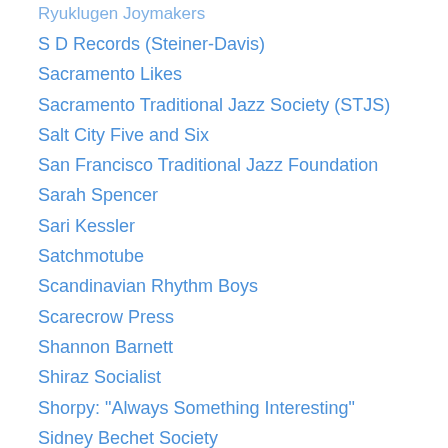Ryuklugen Joymakers
S D Records (Steiner-Davis)
Sacramento Likes
Sacramento Traditional Jazz Society (STJS)
Salt City Five and Six
San Francisco Traditional Jazz Foundation
Sarah Spencer
Sari Kessler
Satchmotube
Scandinavian Rhythm Boys
Scarecrow Press
Shannon Barnett
Shiraz Socialist
Shorpy: "Always Something Interesting"
Sidney Bechet Society
Simon Spillett
Sinatra Music Society (UK)
Slim Gaillard
Slope Music
Solo Flight: The Charlie Christian Web Site